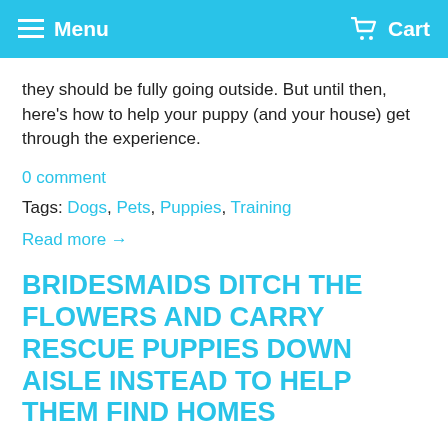Menu  Cart
they should be fully going outside. But until then, here's how to help your puppy (and your house) get through the experience.
0 comment
Tags: Dogs, Pets, Puppies, Training
Read more →
BRIDESMAIDS DITCH THE FLOWERS AND CARRY RESCUE PUPPIES DOWN AISLE INSTEAD TO HELP THEM FIND HOMES
Posted by William Maine on Feb 21, 2019